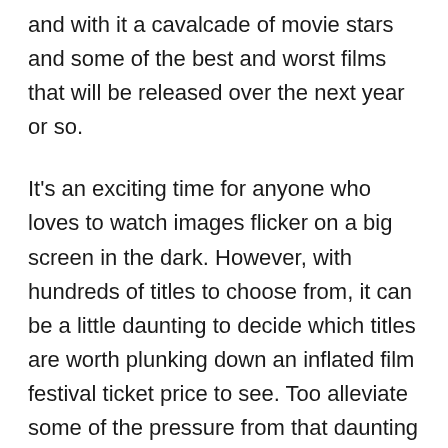and with it a cavalcade of movie stars and some of the best and worst films that will be released over the next year or so.
It's an exciting time for anyone who loves to watch images flicker on a big screen in the dark. However, with hundreds of titles to choose from, it can be a little daunting to decide which titles are worth plunking down an inflated film festival ticket price to see. Too alleviate some of the pressure from that daunting task, we've decided to provide you fair readers with a few prime film fest choices. These aren't necessarily the most